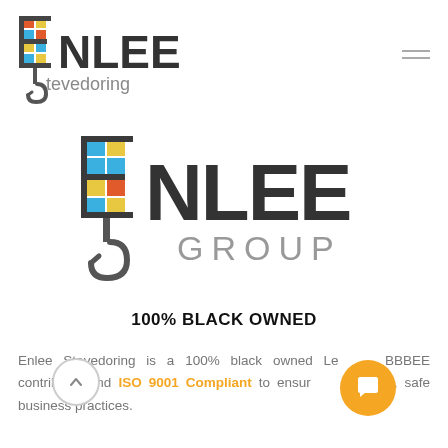[Figure (logo): Enlee Stevedoring logo top left — crane hook with colorful grid squares, ENLEE in bold dark text, Stevedoring in gray below]
[Figure (logo): Enlee Group logo centered — large crane hook with colorful grid squares, NLEE in bold dark text, GROUP in spaced gray letters]
100% BLACK OWNED
Enlee Stevedoring is a 100% black owned Level 1 BBBEE contributor and ISO 9001 Compliant to ensure sustainable, safe business practices.